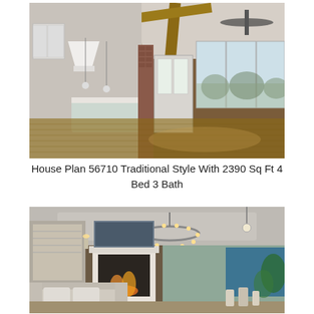[Figure (photo): Interior photo of an open-plan kitchen and living area with wooden ceiling beams, a ceiling fan, white kitchen cabinets, a kitchen island, hardwood floors, and large windows with a view of trees outside.]
House Plan 56710 Traditional Style With 2390 Sq Ft 4 Bed 3 Bath
[Figure (photo): Interior photo of a living room with a fireplace, large chandelier with Edison bulbs, neutral-toned sofas, indoor plants, and a view through large windows to outdoor greenery and a pool area at dusk.]